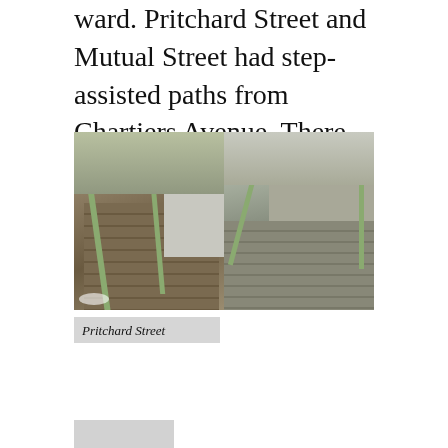ward. Pritchard Street and Mutual Street had step-assisted paths from Chartiers Avenue. There were steps down to Tuxedo Street, with its skate park, but they, too, were broken.
[Figure (photo): Two side-by-side photos of step-assisted pedestrian paths with green metal railings. Left photo shows a sloped concrete walkway with railings descending beside a building. Right photo shows concrete steps going downhill with green railings and a road visible in the background.]
Pritchard Street